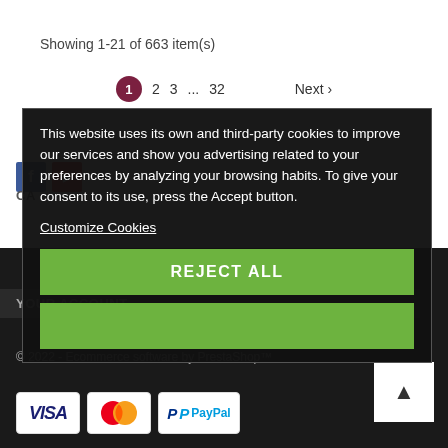Showing 1-21 of 663 item(s)
1  2  3  ...  32  Next >
This website uses its own and third-party cookies to improve our services and show you advertising related to your preferences by analyzing your browsing habits. To give your consent to its use, press the Accept button.
Customize Cookies
REJECT ALL
YOUR ACCOUNT
© 2022 - Ecommerce software by PrestaShop™